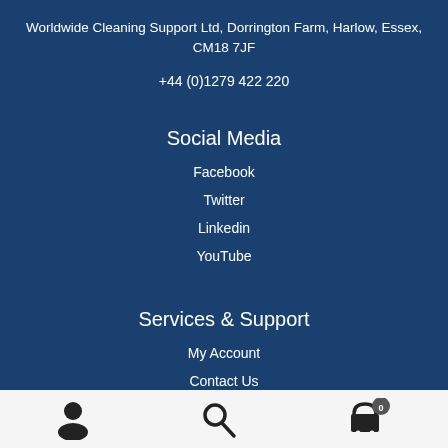Worldwide Cleaning Support Ltd, Dorrington Farm, Harlow, Essex, CM18 7JF
+44 (0)1279 422 220
Social Media
Facebook
Twitter
Linkedin
YouTube
Services & Support
My Account
Contact Us
Privacy Policy
User icon | Search icon | Cart icon with badge 0